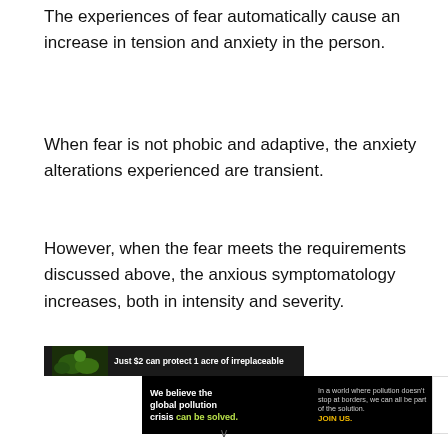The experiences of fear automatically cause an increase in tension and anxiety in the person.
When fear is not phobic and adaptive, the anxiety alterations experienced are transient.
However, when the fear meets the requirements discussed above, the anxious symptomatology increases, both in intensity and severity.
[Figure (infographic): Advertisement banner: top portion shows forest/nature image with text 'Just $2 can protect 1 acre of irreplaceable'; bottom portion is a Pure Earth ad reading 'We believe the global pollution crisis can be solved.' with tagline 'In a world where pollution doesn't stop at borders, we can all be part of the solution. JOIN US.' and Pure Earth diamond logo.]
v